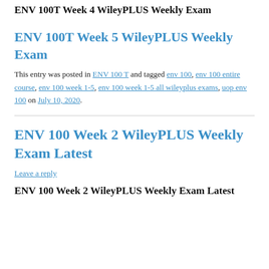ENV 100T Week 4 WileyPLUS Weekly Exam
ENV 100T Week 5 WileyPLUS Weekly Exam
This entry was posted in ENV 100 T and tagged env 100, env 100 entire course, env 100 week 1-5, env 100 week 1-5 all wileyplus exams, uop env 100 on July 10, 2020.
ENV 100 Week 2 WileyPLUS Weekly Exam Latest
Leave a reply
ENV 100 Week 2 WileyPLUS Weekly Exam Latest